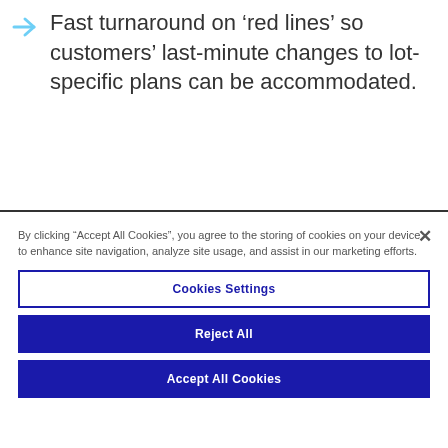Fast turnaround on 'red lines' so customers' last-minute changes to lot-specific plans can be accommodated.
By clicking "Accept All Cookies", you agree to the storing of cookies on your device to enhance site navigation, analyze site usage, and assist in our marketing efforts.
Cookies Settings
Reject All
Accept All Cookies